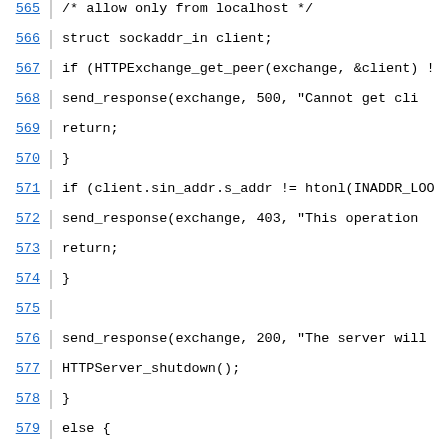Code listing lines 565-587, C source code for HTTP server handling
565    /* allow only from localhost */
566        struct sockaddr_in client;
567        if (HTTPExchange_get_peer(exchange, &client) !
568            send_response(exchange, 500, "Cannot get cli
569            return;
570        }
571        if (client.sin_addr.s_addr != htonl(INADDR_LOO
572            send_response(exchange, 403, "This operation
573            return;
574        }
575
576        send_response(exchange, 200, "The server will
577        HTTPServer_shutdown();
578    }
579    else {
580        const char * path = abs_path + 1;
581        const struct Resource * resource = get_resourc
582        if (resource == NULL) {
583            send_response(exchange, 404, "Not found\n");
584            return;
585        }
586        HTTPExchange_set_response_header(exchange, HTT
587        if (HTTPExchange_write_response(exchange, reso